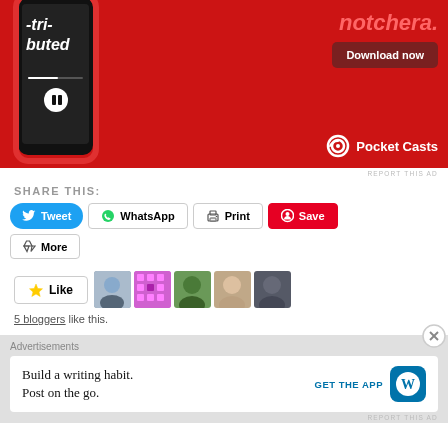[Figure (photo): Pocket Casts app advertisement on red background showing a smartphone with podcast app interface, 'Download now' button, and Pocket Casts logo]
REPORT THIS AD
SHARE THIS:
Tweet  WhatsApp  Print  Save  More
[Figure (other): Like button with star icon and user avatars showing 5 bloggers who liked the post]
5 bloggers like this.
Advertisements
[Figure (other): WordPress advertisement: Build a writing habit. Post on the go. GET THE APP with WordPress icon]